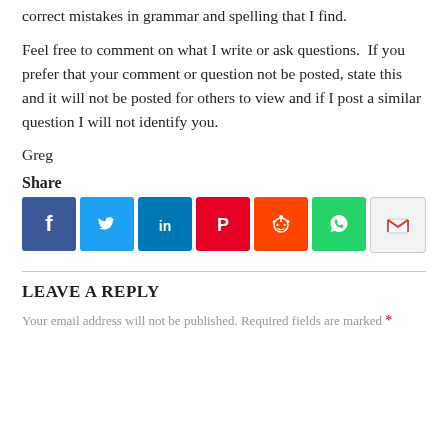correct mistakes in grammar and spelling that I find.
Feel free to comment on what I write or ask questions.  If you prefer that your comment or question not be posted, state this and it will not be posted for others to view and if I post a similar question I will not identify you.
Greg
Share
[Figure (other): Social share buttons: Facebook, Twitter, LinkedIn, Pinterest, Reddit, WhatsApp, Gmail]
LEAVE A REPLY
Your email address will not be published. Required fields are marked *